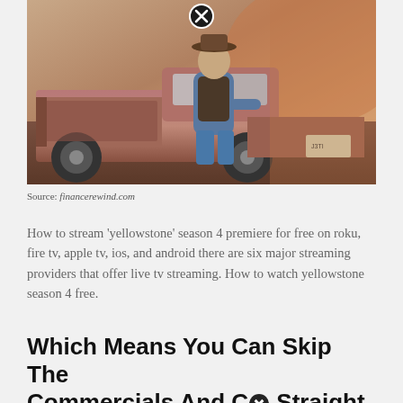[Figure (photo): A man wearing a cowboy hat and vest sitting on the tailgate of an old pickup truck in a rural, dusty landscape with a dramatic sky. A close/cancel button (X icon) is overlaid at the top center of the image.]
Source: financerewind.com
How to stream 'yellowstone' season 4 premiere for free on roku, fire tv, apple tv, ios, and android there are six major streaming providers that offer live tv streaming. How to watch yellowstone season 4 free.
Which Means You Can Skip The Commercials And Co Straight.